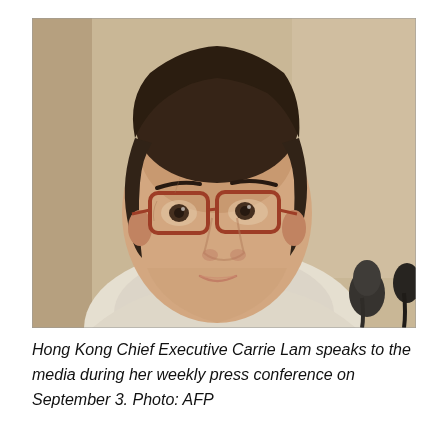[Figure (photo): Hong Kong Chief Executive Carrie Lam at a press conference, looking upward, wearing red-rimmed glasses and a white jacket, with microphones visible in the foreground right.]
Hong Kong Chief Executive Carrie Lam speaks to the media during her weekly press conference on September 3. Photo: AFP